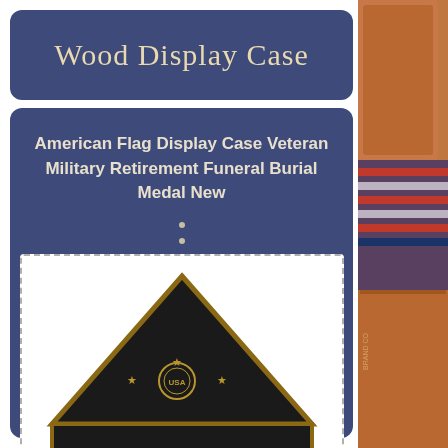Wood Display Case
American Flag Display Case Veteran Military Retirement Funeral Burial Medal New
[Figure (photo): Back view of a triangular military flag display case with dark interior, wood frame, and decorative stars and emblem on the back panel, labeled BACK]